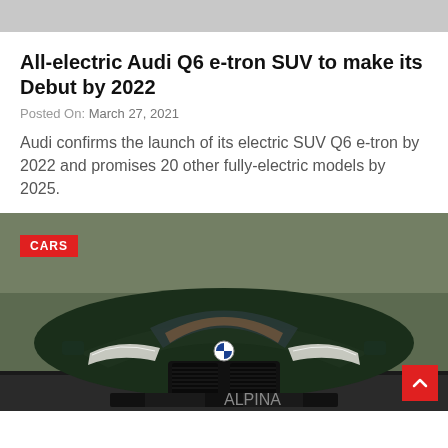[Figure (photo): Top partial image, cropped, showing grey/neutral background — top strip of an article hero image]
All-electric Audi Q6 e-tron SUV to make its Debut by 2022
Posted On: March 27, 2021
Audi confirms the launch of its electric SUV Q6 e-tron by 2022 and promises 20 other fully-electric models by 2025.
[Figure (photo): Front view of a dark green BMW Alpina car on a road, with 'CARS' badge overlay in red at top-left and a red scroll-to-top button at bottom-right]